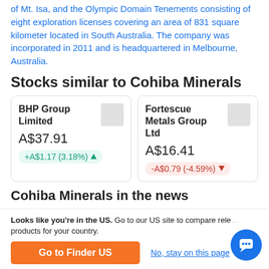of Mt. Isa, and the Olympic Domain Tenements consisting of eight exploration licenses covering an area of 831 square kilometer located in South Australia. The company was incorporated in 2011 and is headquartered in Melbourne, Australia.
Stocks similar to Cohiba Minerals
| Company | Price | Change |
| --- | --- | --- |
| BHP Group Limited | A$37.91 | +A$1.17 (3.18%) |
| Fortescue Metals Group Ltd | A$16.41 | -A$0.79 (-4.59%) |
Cohiba Minerals in the news
Looks like you're in the US. Go to our US site to compare relevant products for your country.
Go to Finder US
No, stay on this page